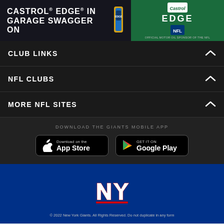[Figure (other): Castrol EDGE advertisement banner: left side shows 'CASTROL EDGE IN GARAGE SWAGGER ON' text on dark background with oil bottle image; right side shows green background with Castrol Edge NFL official motor oil sponsor logo]
CLUB LINKS
NFL CLUBS
MORE NFL SITES
DOWNLOAD THE GIANTS MOBILE APP
[Figure (other): Download on the App Store button]
[Figure (other): GET IT ON Google Play button]
[Figure (logo): New York Giants 'ny' logo in white on blue background]
© 2022 New York Giants. All Rights Reserved. Do not duplicate in any form
[Figure (other): Social media icons: Facebook, Twitter, Email, Link]